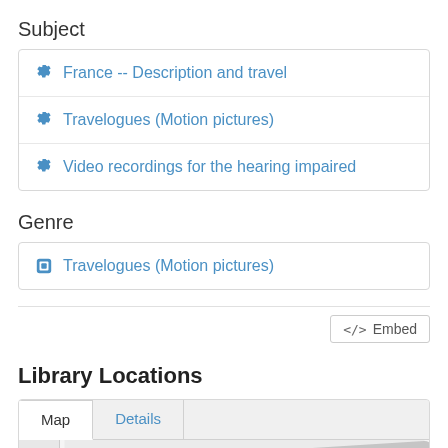Subject
France -- Description and travel
Travelogues (Motion pictures)
Video recordings for the hearing impaired
Genre
Travelogues (Motion pictures)
</> Embed
Library Locations
[Figure (map): Map view with tab controls showing Map and Details tabs, with a partial map visible showing arrow-like road/path overlays on a light grey background]